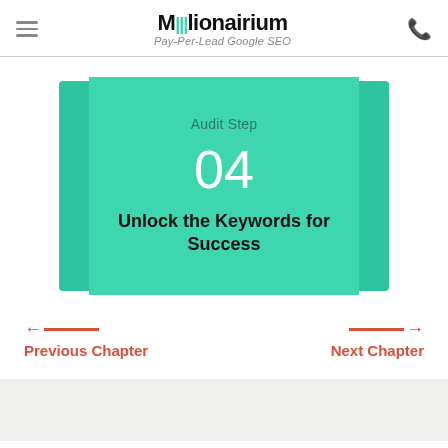Millionairium — Pay-Per-Lead Google SEO
Audit Step
04
Unlock the Keywords for Success
← Previous Chapter
Next Chapter →